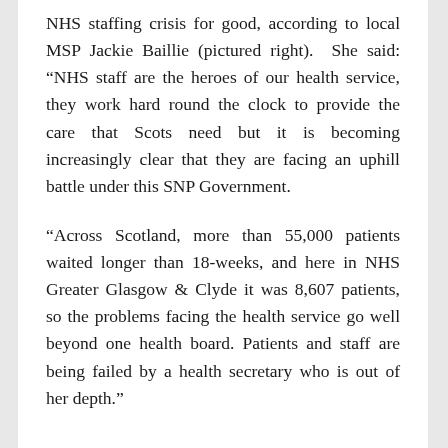NHS staffing crisis for good, according to local MSP Jackie Baillie (pictured right). She said: “NHS staff are the heroes of our health service, they work hard round the clock to provide the care that Scots need but it is becoming increasingly clear that they are facing an uphill battle under this SNP Government.
“Across Scotland, more than 55,000 patients waited longer than 18-weeks, and here in NHS Greater Glasgow & Clyde it was 8,607 patients, so the problems facing the health service go well beyond one health board. Patients and staff are being failed by a health secretary who is out of her depth.”